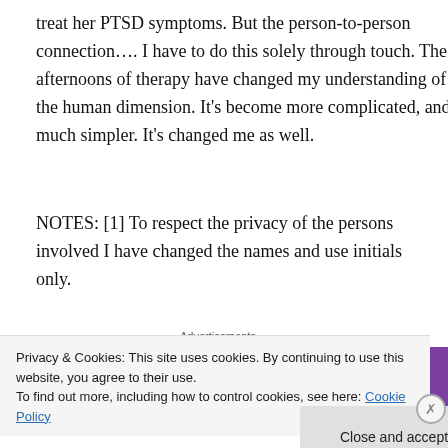treat her PTSD symptoms. But the person-to-person connection…. I have to do this solely through touch. The afternoons of therapy have changed my understanding of the human dimension. It's become more complicated, and much simpler. It's changed me as well.
NOTES: [1] To respect the privacy of the persons involved I have changed the names and use initials only.
Advertisements
[Figure (logo): WooCommerce purple banner advertisement showing the WooCommerce logo in white on a purple background]
Privacy & Cookies: This site uses cookies. By continuing to use this website, you agree to their use.
To find out more, including how to control cookies, see here: Cookie Policy